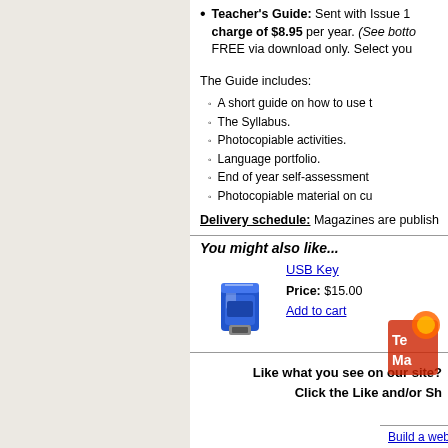Teacher's Guide: Sent with Issue 1 charge of $8.95 per year. (See botto FREE via download only. Select you
The Guide includes:
A short guide on how to use t
The Syllabus.
Photocopiable activities.
Language portfolio.
End of year self-assessment
Photocopiable material on cu
Delivery schedule: Magazines are publish
You might also like...
[Figure (photo): Blue USB flash drive]
USB Key
Price: $15.00
Add to cart
Like what you see on our site? Click the Like and/or Sh
Build a website at CityMax.com